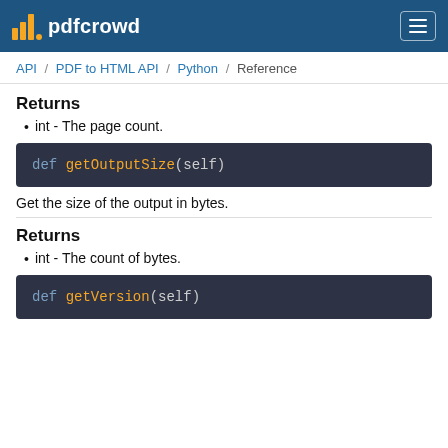pdfcrowd
API / PDF to HTML API / Python / Reference
Returns
int - The page count.
def getOutputSize(self)
Get the size of the output in bytes.
Returns
int - The count of bytes.
def getVersion(self)